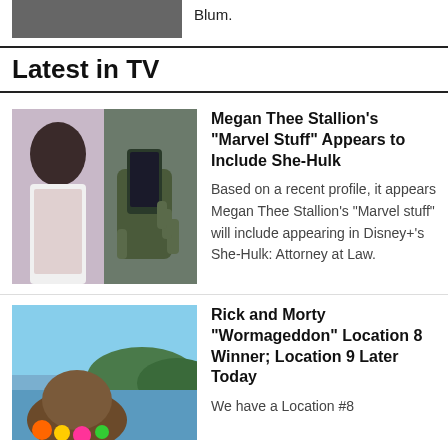[Figure (photo): Partial image at top left, cropped]
Blum.
Latest in TV
[Figure (photo): Megan Thee Stallion next to a She-Hulk selfie image]
Megan Thee Stallion's "Marvel Stuff" Appears to Include She-Hulk
Based on a recent profile, it appears Megan Thee Stallion's "Marvel stuff" will include appearing in Disney+'s She-Hulk: Attorney at Law.
[Figure (photo): Rick and Morty Wormageddon character at a beach scene]
Rick and Morty "Wormageddon" Location 8 Winner; Location 9 Later Today
We have a Location #8